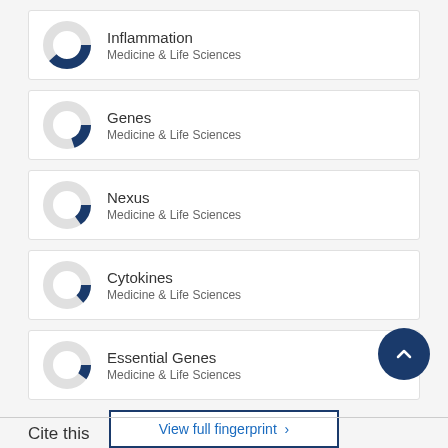[Figure (donut-chart): Donut chart ~65% filled in dark blue, Medicine & Life Sciences category]
Inflammation
Medicine & Life Sciences
[Figure (donut-chart): Donut chart ~45% filled in dark blue, Medicine & Life Sciences category]
Genes
Medicine & Life Sciences
[Figure (donut-chart): Donut chart ~40% filled in dark blue, Medicine & Life Sciences category]
Nexus
Medicine & Life Sciences
[Figure (donut-chart): Donut chart ~38% filled in dark blue, Medicine & Life Sciences category]
Cytokines
Medicine & Life Sciences
[Figure (donut-chart): Donut chart ~35% filled in dark blue, Medicine & Life Sciences category]
Essential Genes
Medicine & Life Sciences
View full fingerprint >
Cite this